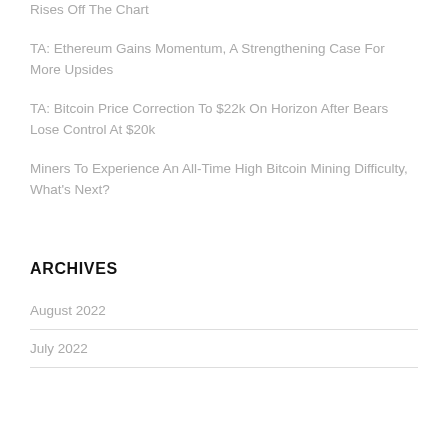Rises Off The Chart
TA: Ethereum Gains Momentum, A Strengthening Case For More Upsides
TA: Bitcoin Price Correction To $22k On Horizon After Bears Lose Control At $20k
Miners To Experience An All-Time High Bitcoin Mining Difficulty, What's Next?
ARCHIVES
August 2022
July 2022